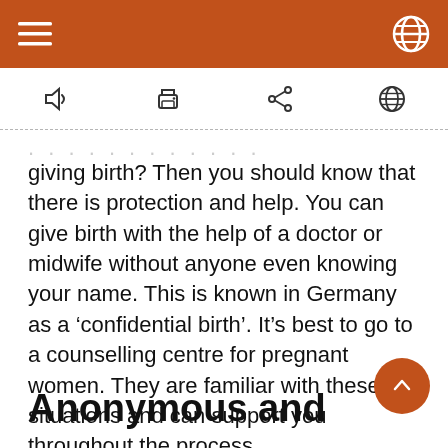giving birth? Then you should know that there is protection and help. You can give birth with the help of a doctor or midwife without anyone even knowing your name. This is known in Germany as a ‘confidential birth’. It’s best to go to a counselling centre for pregnant women. They are familiar with these situations and can support you throughout the process.
Anonymous and